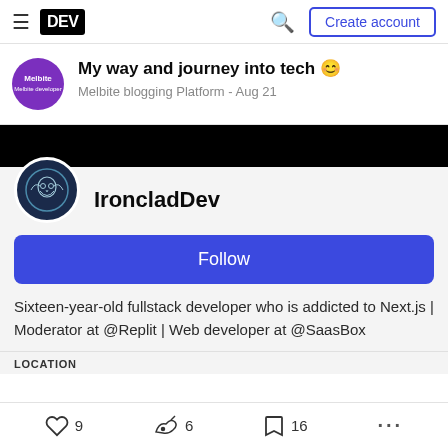DEV | Create account
My way and journey into tech 😊
Melbite blogging Platform - Aug 21
[Figure (screenshot): IroncladDev profile with avatar, Follow button, bio and location section]
Sixteen-year-old fullstack developer who is addicted to Next.js | Moderator at @Replit | Web developer at @SaasBox
LOCATION
9 likes  6 reactions  16 bookmarks  ...